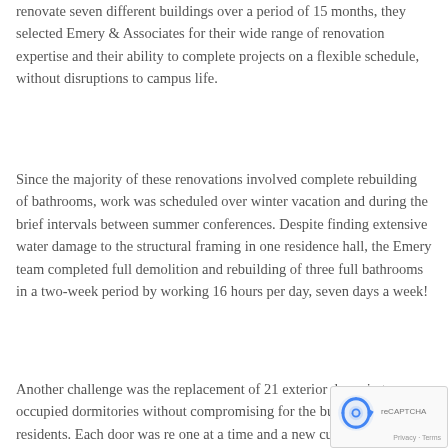renovate seven different buildings over a period of 15 months, they selected Emery & Associates for their wide range of renovation expertise and their ability to complete projects on a flexible schedule, without disruptions to campus life.
Since the majority of these renovations involved complete rebuilding of bathrooms, work was scheduled over winter vacation and during the brief intervals between summer conferences. Despite finding extensive water damage to the structural framing in one residence hall, the Emery team completed full demolition and rebuilding of three full bathrooms in a two-week period by working 16 hours per day, seven days a week!
Another challenge was the replacement of 21 exterior doors in two occupied dormitories without compromising for the buildings or their residents. Each door was re one at a time and a new custom-made replacement